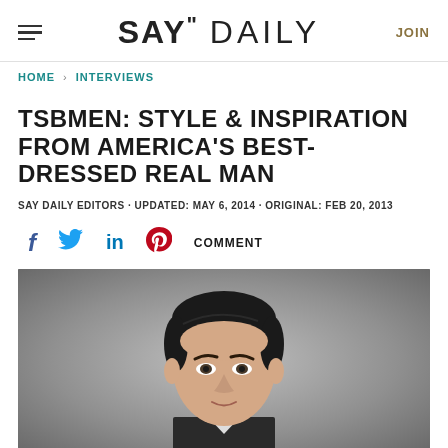≡  SAY" DAILY  JOIN
HOME > INTERVIEWS
TSBMEN: STYLE & INSPIRATION FROM AMERICA'S BEST-DRESSED REAL MAN
SAY DAILY EDITORS · UPDATED: MAY 6, 2014 · ORIGINAL: FEB 20, 2013
f  (twitter)  in  (pinterest)  COMMENT
[Figure (photo): Portrait photo of a well-dressed man with dark slicked-back hair, wearing a suit, photographed against a grey gradient background]